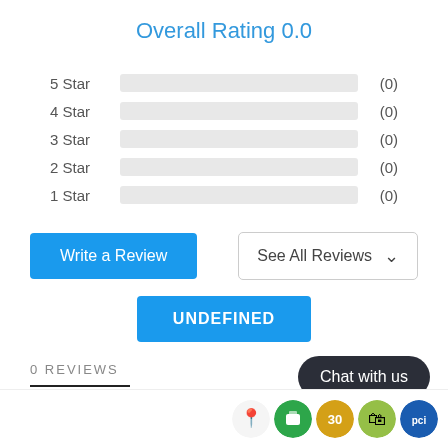Overall Rating 0.0
[Figure (infographic): Star rating breakdown showing 5-Star, 4-Star, 3-Star, 2-Star, 1-Star all with empty grey bars and (0) counts]
Write a Review
See All Reviews
UNDEFINED
0 REVIEWS
Chat with us